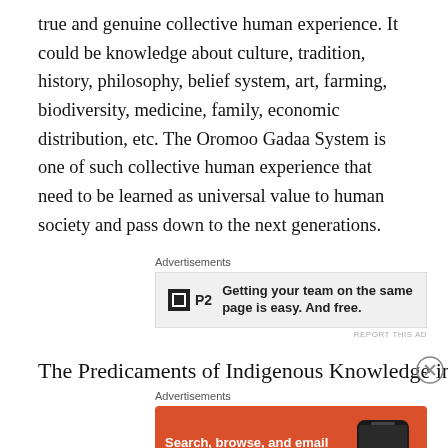true and genuine collective human experience. It could be knowledge about culture, tradition, history, philosophy, belief system, art, farming, biodiversity, medicine, family, economic distribution, etc. The Oromoo Gadaa System is one of such collective human experience that need to be learned as universal value to human society and pass down to the next generations.
[Figure (other): Advertisement banner for P2 app: 'Getting your team on the same page is easy. And free.']
The Predicaments of Indigenous Knowledge in Ethiopia
[Figure (other): Advertisement banner for DuckDuckGo: 'Search, browse, and email with more privacy. All in One Free App' with phone image showing DuckDuckGo logo.]